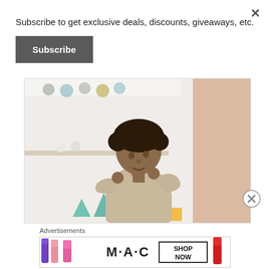×
Subscribe to get exclusive deals, discounts, giveaways, etc.
Subscribe
[Figure (photo): A young girl with curly hair playing with small toys in a decorated room with bunting banners in the background]
Advertisements
[Figure (photo): MAC cosmetics advertisement showing lipsticks in purple, pink, and red colors with SHOP NOW button]